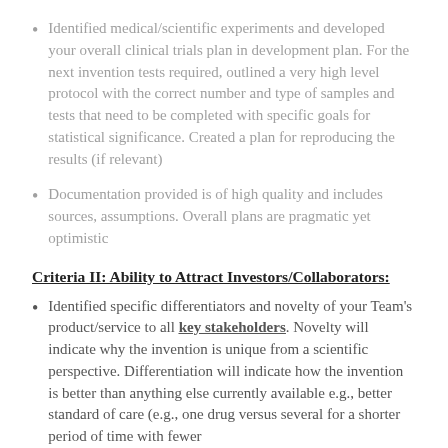Identified medical/scientific experiments and developed your overall clinical trials plan in development plan. For the next invention tests required, outlined a very high level protocol with the correct number and type of samples and tests that need to be completed with specific goals for statistical significance. Created a plan for reproducing the results (if relevant)
Documentation provided is of high quality and includes sources, assumptions.  Overall plans are pragmatic yet optimistic
Criteria II: Ability to Attract Investors/Collaborators:
Identified specific differentiators and novelty of your Team's product/service to all key stakeholders. Novelty will indicate why the invention is unique from a scientific perspective.  Differentiation will indicate how the invention is better than anything else currently available e.g., better standard of care (e.g., one drug versus several for a shorter period of time with fewer